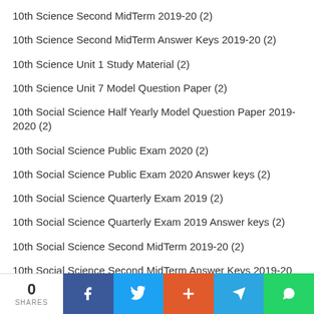10th Science Second MidTerm 2019-20 (2)
10th Science Second MidTerm Answer Keys 2019-20 (2)
10th Science Unit 1 Study Material (2)
10th Science Unit 7 Model Question Paper (2)
10th Social Science Half Yearly Model Question Paper 2019-2020 (2)
10th Social Science Public Exam 2020 (2)
10th Social Science Public Exam 2020 Answer keys (2)
10th Social Science Quarterly Exam 2019 (2)
10th Social Science Quarterly Exam 2019 Answer keys (2)
10th Social Science Second MidTerm 2019-20 (2)
10th Social Science Second MidTerm Answer Keys 2019-20 (2)